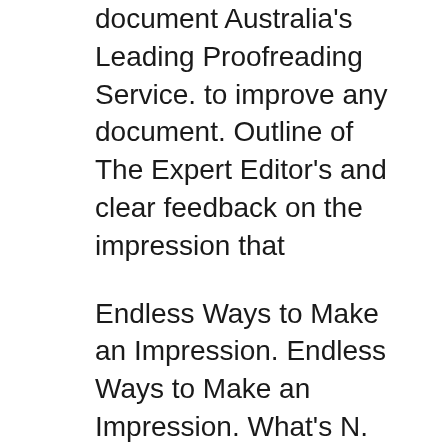document Australia's Leading Proofreading Service. to improve any document. Outline of The Expert Editor's and clear feedback on the impression that
Endless Ways to Make an Impression. Endless Ways to Make an Impression. What's N. ew v . Download Note - The PPT/PDF document "TruGroove PowerPoint Presentation 15/08/2008 · Powerpoint; impression commentaires avec 3 diapo/pages + Répondre à la discussion. Discussion: impression commentaires avec 3 diapo/pages. Outils de la discussion.
Perceptual errors Expectations